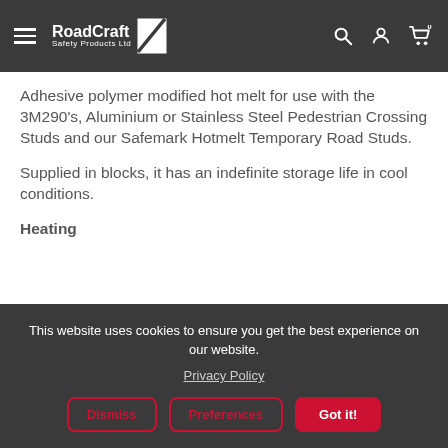RoadCraft Safety Products Ltd
Adhesive polymer modified hot melt for use with the 3M290's, Aluminium or Stainless Steel Pedestrian Crossing Studs and our Safemark Hotmelt Temporary Road Studs.
Supplied in blocks, it has an indefinite storage life in cool conditions.
Heating
This website uses cookies to ensure you get the best experience on our website.
Privacy Policy
Dismiss | Preferences | Got it!